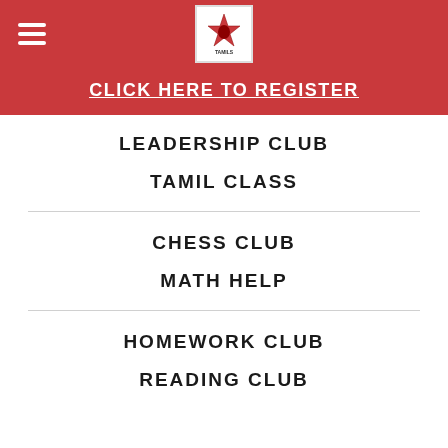Navigation header with hamburger menu and logo
CLICK HERE TO REGISTER
LEADERSHIP CLUB
TAMIL CLASS
CHESS CLUB
MATH HELP
HOMEWORK CLUB
READING CLUB